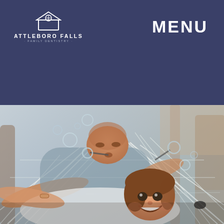[Figure (logo): Attleboro Falls Family Dentistry logo — house/roof icon with circular window, white on dark navy background, text 'ATTLEBORO FALLS' and 'FAMILY DENTISTRY' below]
MENU
[Figure (photo): A father and young daughter lying in a hammock blowing bubbles, both smiling, photo in muted blue-grey tones]